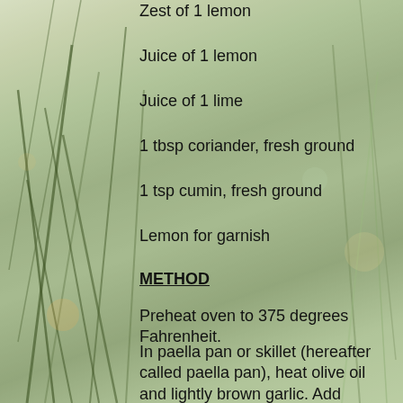Zest of 1 lemon
Juice of 1 lemon
Juice of 1 lime
1 tbsp coriander, fresh ground
1 tsp cumin, fresh ground
Lemon for garnish
METHOD
Preheat oven to 375 degrees Fahrenheit.
In paella pan or skillet (hereafter called paella pan), heat olive oil and lightly brown garlic. Add yellow onion, bell pepper, jalapeno, and tarragon and sauté